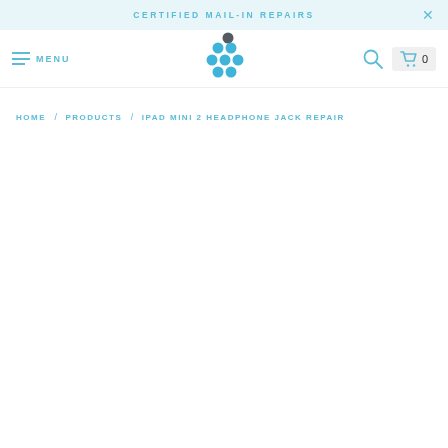CERTIFIED MAIL-IN REPAIRS
MENU
[Figure (logo): Blue dots logo arranged in a cluster, resembling grapes or a bunch of circles in shades of blue with one dark grey dot]
HOME / PRODUCTS / IPAD MINI 2 HEADPHONE JACK REPAIR